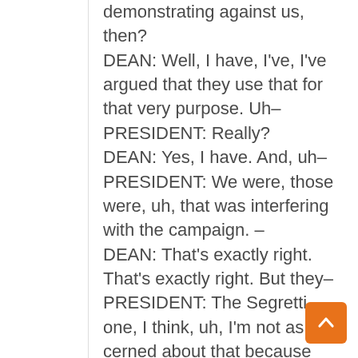demonstrating against us, then? DEAN: Well, I have, I've, I've argued that they use that for that very purpose. Uh– PRESIDENT: Really? DEAN: Yes, I have. And, uh– PRESIDENT: We were, those were, uh, that was interfering with the campaign. – DEAN: That's exactly right. That's exactly right. But they– PRESIDENT: The Segretti one, I think, uh, I'm not as con-cerned about that because